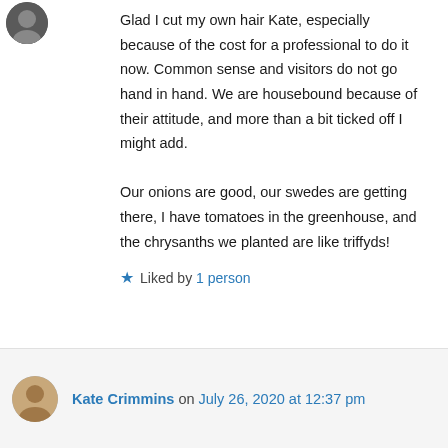Glad I cut my own hair Kate, especially because of the cost for a professional to do it now. Common sense and visitors do not go hand in hand. We are housebound because of their attitude, and more than a bit ticked off I might add.
Our onions are good, our swedes are getting there, I have tomatoes in the greenhouse, and the chrysanths we planted are like triffyds!
★ Liked by 1 person
↳ Reply
Kate Crimmins on July 26, 2020 at 12:37 pm